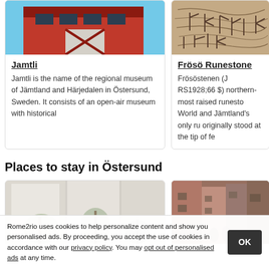[Figure (photo): Photo of Jamtli museum building - red wooden structure with blue sky]
Jamtli
Jamtli is the name of the regional museum of Jämtland and Härjedalen in Östersund, Sweden. It consists of an open-air museum with historical
[Figure (photo): Photo of Frösö Runestone - carved stone with runic inscriptions]
Frösö Runestone
Frösöstenen (J RS1928;66 $) northern-most raised runesto World and Jämtland's only ru originally stood at the tip of fe
Places to stay in Östersund
[Figure (photo): Photo of a hotel or accommodation interior with plants and bright windows]
[Figure (photo): Photo of a street or exterior of accommodation in Östersund]
Rome2rio uses cookies to help personalize content and show you personalised ads. By proceeding, you accept the use of cookies in accordance with our privacy policy. You may opt out of personalised ads at any time.